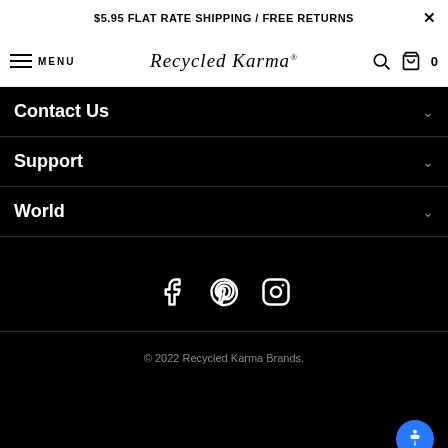$5.95 FLAT RATE SHIPPING / FREE RETURNS ×
MENU  Recycled Karma®  🔍  🛍 0
Contact Us
Support
World
[Figure (other): Social media icons: Facebook, Pinterest, Instagram]
© 2022 Recycled Karma Brands.